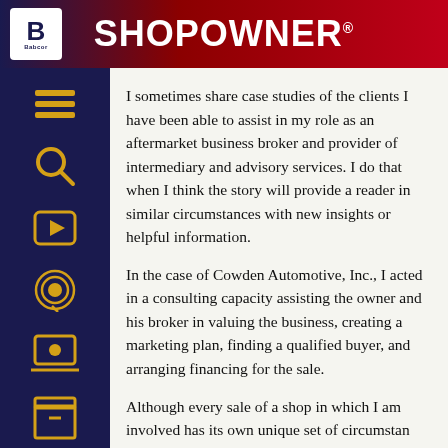SHOPOWNER
I sometimes share case studies of the clients I have been able to assist in my role as an aftermarket business broker and provider of intermediary and advisory services. I do that when I think the story will provide a reader in similar circumstances with new insights or helpful information.
In the case of Cowden Automotive, Inc., I acted in a consulting capacity assisting the owner and his broker in valuing the business, creating a marketing plan, finding a qualified buyer, and arranging financing for the sale.
Although every sale of a shop in which I am involved has its own unique set of circumstances...